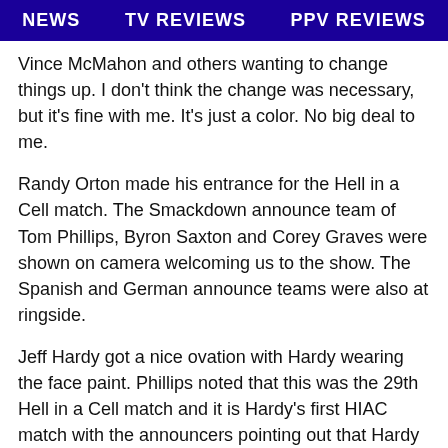NEWS   TV REVIEWS   PPV REVIEWS
Vince McMahon and others wanting to change things up. I don't think the change was necessary, but it's fine with me. It's just a color. No big deal to me.
Randy Orton made his entrance for the Hell in a Cell match. The Smackdown announce team of Tom Phillips, Byron Saxton and Corey Graves were shown on camera welcoming us to the show. The Spanish and German announce teams were also at ringside.
Jeff Hardy got a nice ovation with Hardy wearing the face paint. Phillips noted that this was the 29th Hell in a Cell match and it is Hardy's first HIAC match with the announcers pointing out that Hardy had a goal of competing in a Hell in a Cell match.
Analysis: I'm surprised there was no video package